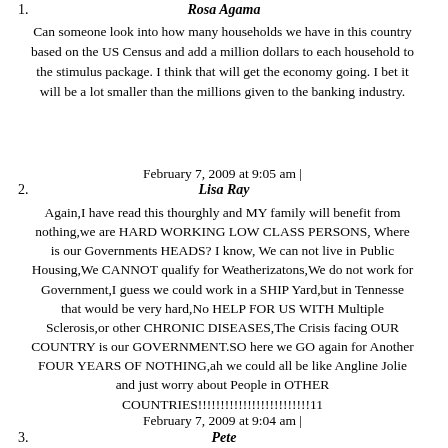1. Rosa Agama
Can someone look into how many households we have in this country based on the US Census and add a million dollars to each household to the stimulus package. I think that will get the economy going. I bet it will be a lot smaller than the millions given to the banking industry.
February 7, 2009 at 9:05 am |
2. Lisa Ray
Again,I have read this thourghly and MY family will benefit from nothing,we are HARD WORKING LOW CLASS PERSONS, Where is our Governments HEADS? I know, We can not live in Public Housing,We CANNOT qualify for Weatherizatons,We do not work for Government,I guess we could work in a SHIP Yard,but in Tennesse that would be very hard,No HELP FOR US WITH Multiple Sclerosis,or other CHRONIC DISEASES,The Crisis facing OUR COUNTRY is our GOVERNMENT.SO here we GO again for Another FOUR YEARS OF NOTHING,ah we could all be like Angline Jolie and just worry about People in OTHER COUNTRIES!!!!!!!!!!!!!!!!!!!!!!!!!11
February 7, 2009 at 9:04 am |
3. Pete